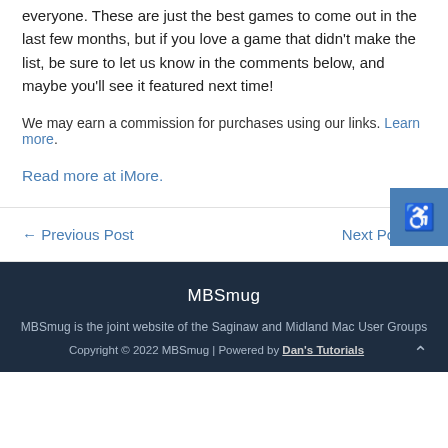everyone. These are just the best games to come out in the last few months, but if you love a game that didn't make the list, be sure to let us know in the comments below, and maybe you'll see it featured next time!
We may earn a commission for purchases using our links. Learn more.
Read more at iMore.
← Previous Post
Next Post →
MBSmug
MBSmug is the joint website of the Saginaw and Midland Mac User Groups
Copyright © 2022 MBSmug | Powered by Dan's Tutorials